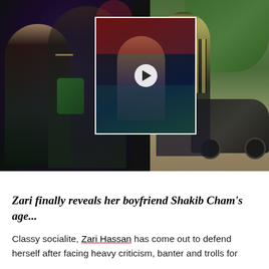[Figure (photo): Three-photo collage: left photo shows a woman with long blonde hair and a man in a black graphic t-shirt at a party/club setting; center photo is a video thumbnail of a woman dancing in a club with a play button overlay; right photo shows a man in a striped shirt standing next to a black car outdoors.]
Zari finally reveals her boyfriend Shakib Cham's age...
Classy socialite, Zari Hassan has come out to defend herself after facing heavy criticism, banter and trolls for